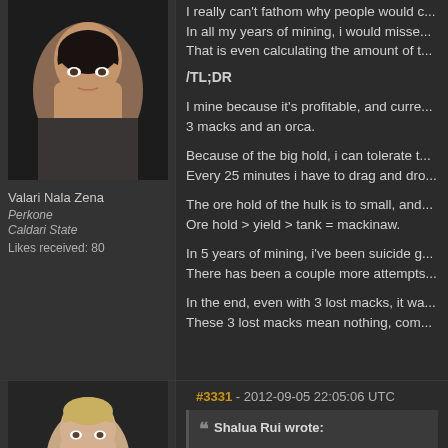[Figure (photo): Avatar of Valari Nala Zena, female character portrait with dark hair]
Valari Nala Zena
Perkone
Caldari State
Likes received: 80
I really can't fathom why people would...
In all my years of mining, i would misse...
That is even calculating the amount of t...
/TL;DR
I mine because it's profitable, and curre...
3 macks and an orca.
Because of the big hold, i can tolerate t...
Every 25 minutes i have to drag and dro...
The ore hold of the hulk is to small, and...
Ore hold > yield > tank = mackinaw.
In 5 years of mining, i've been suicide g...
There has been a couple more attempts...
In the end, even with 3 lost macks, it wa...
These 3 lost macks mean nothing, com...
#3331 - 2012-09-05 22:05:06 UTC
[Figure (photo): Avatar of another forum user, blonde female character portrait]
Shalua Rui wrote:
Pure mathematics? Yield...